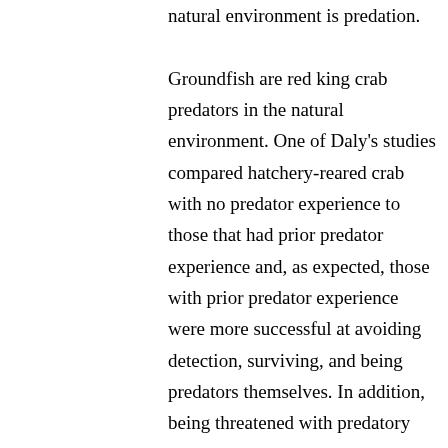natural environment is predation. Groundfish are red king crab predators in the natural environment. One of Daly's studies compared hatchery-reared crab with no predator experience to those that had prior predator experience and, as expected, those with prior predator experience were more successful at avoiding detection, surviving, and being predators themselves. In addition, being threatened with predatory cues is thought to encourage red king crabs to seek out complex substrate.

First, Daly placed cod and halibut into a tank with some of the cultured juvenile red